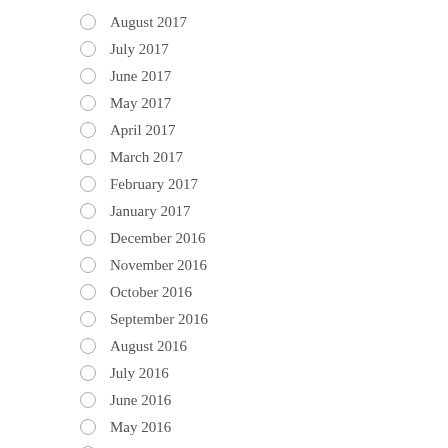August 2017
July 2017
June 2017
May 2017
April 2017
March 2017
February 2017
January 2017
December 2016
November 2016
October 2016
September 2016
August 2016
July 2016
June 2016
May 2016
April 2016
March 2016